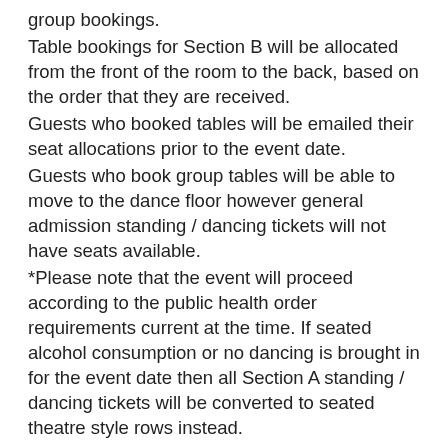group bookings.
Table bookings for Section B will be allocated from the front of the room to the back, based on the order that they are received.
Guests who booked tables will be emailed their seat allocations prior to the event date.
Guests who book group tables will be able to move to the dance floor however general admission standing / dancing tickets will not have seats available.
*Please note that the event will proceed according to the public health order requirements current at the time. If seated alcohol consumption or no dancing is brought in for the event date then all Section A standing / dancing tickets will be converted to seated theatre style rows instead.
Section A – General Admission Standing / Dancing, min booking of 2. No chairs available (unless it is a requirement of the PHO at the time of the event for patrons to be seated).